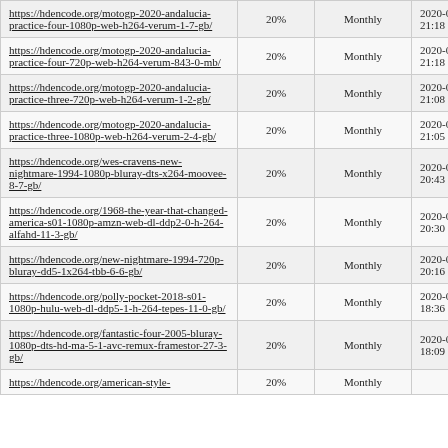| https://hdencode.org/motogp-2020-andalucia-practice-four-1080p-web-h264-verum-1-7-gb/ | 20% | Monthly | 2020-07-25 21:18 |
| https://hdencode.org/motogp-2020-andalucia-practice-four-720p-web-h264-verum-843-0-mb/ | 20% | Monthly | 2020-07-25 21:18 |
| https://hdencode.org/motogp-2020-andalucia-practice-three-720p-web-h264-verum-1-2-gb/ | 20% | Monthly | 2020-07-25 21:08 |
| https://hdencode.org/motogp-2020-andalucia-practice-three-1080p-web-h264-verum-2-4-gb/ | 20% | Monthly | 2020-07-25 21:05 |
| https://hdencode.org/wes-cravens-new-nightmare-1994-1080p-bluray-dts-x264-moovee-8-7-gb/ | 20% | Monthly | 2020-07-25 20:43 |
| https://hdencode.org/1968-the-year-that-changed-america-s01-1080p-amzn-web-dl-ddp2-0-h-264-alfahd-11-3-gb/ | 20% | Monthly | 2020-07-25 20:30 |
| https://hdencode.org/new-nightmare-1994-720p-bluray-dd5-1x264-tbb-6-6-gb/ | 20% | Monthly | 2020-07-25 20:16 |
| https://hdencode.org/polly-pocket-2018-s01-1080p-hulu-web-dl-ddp5-1-h-264-tepes-11-0-gb/ | 20% | Monthly | 2020-07-25 18:36 |
| https://hdencode.org/fantastic-four-2005-bluray-1080p-dts-hd-ma-5-1-avc-remux-framestor-27-3-gb/ | 20% | Monthly | 2020-07-25 18:09 |
| https://hdencode.org/american-style-... | 20% | Monthly |  |